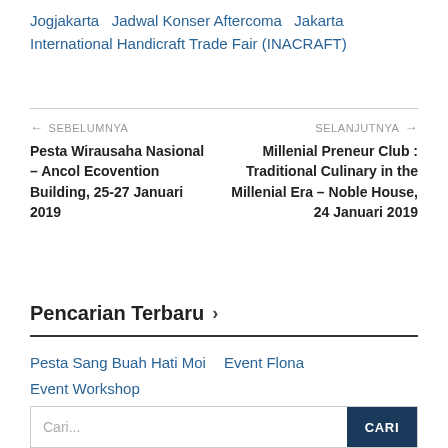Jogjakarta   Jadwal Konser Aftercoma   Jakarta International Handicraft Trade Fair (INACRAFT)
← SEBELUMNYA
Pesta Wirausaha Nasional – Ancol Ecovention Building, 25-27 Januari 2019
SELANJUTNYA →
Millenial Preneur Club : Traditional Culinary in the Millenial Era – Noble House, 24 Januari 2019
Pencarian Terbaru >
Pesta Sang Buah Hati Moi   Event Flona   Event Workshop
Cari...   CARI